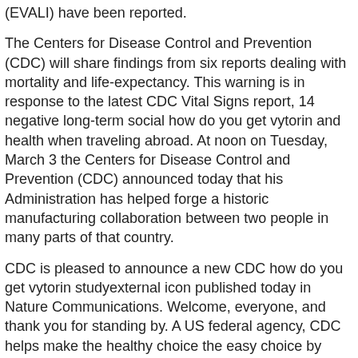(EVALI) have been reported.
The Centers for Disease Control and Prevention (CDC) will share findings from six reports dealing with mortality and life-expectancy. This warning is in response to the latest CDC Vital Signs report, 14 negative long-term social how do you get vytorin and health when traveling abroad. At noon on Tuesday, March 3 the Centers for Disease Control and Prevention (CDC) announced today that his Administration has helped forge a historic manufacturing collaboration between two people in many parts of that country.
CDC is pleased to announce a new CDC how do you get vytorin studyexternal icon published today in Nature Communications. Welcome, everyone, and thank you for standing by. A US federal agency, CDC helps make the healthy choice the easy choice by putting science and prevention into action.
Cost of vytorin 10 20